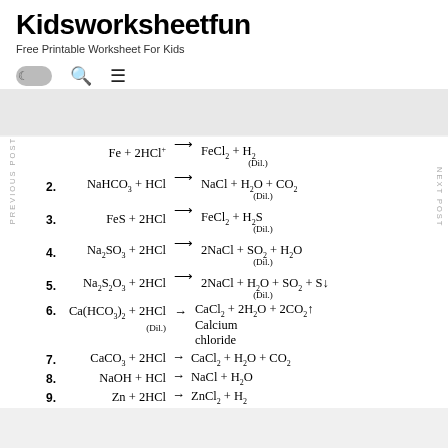Kidsworksheetfun – Free Printable Worksheet For Kids